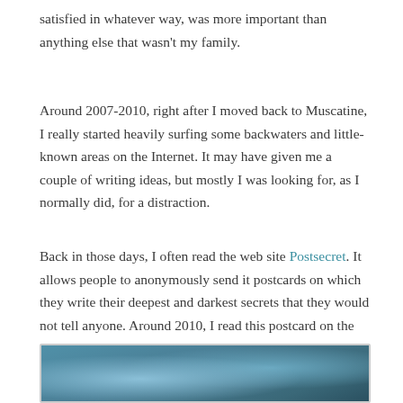satisfied in whatever way, was more important than anything else that wasn't my family.
Around 2007-2010, right after I moved back to Muscatine, I really started heavily surfing some backwaters and little-known areas on the Internet. It may have given me a couple of writing ideas, but mostly I was looking for, as I normally did, for a distraction.
Back in those days, I often read the web site Postsecret. It allows people to anonymously send it postcards on which they write their deepest and darkest secrets that they would not tell anyone. Around 2010, I read this postcard on the site:
[Figure (photo): Bottom portion of a postcard image with blue/teal toned photograph, partially visible at the bottom of the page.]